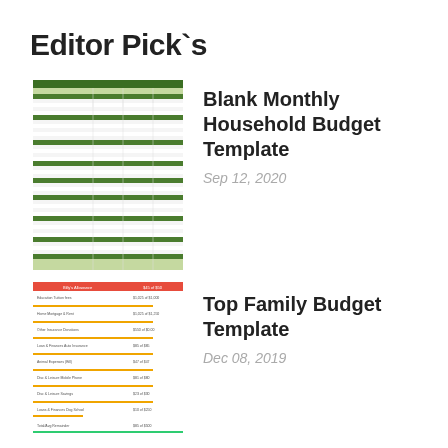Editor Pick`s
[Figure (screenshot): Thumbnail of Blank Monthly Household Budget Template spreadsheet with green header rows and colored columns]
Blank Monthly Household Budget Template
Sep 12, 2020
[Figure (screenshot): Thumbnail of Top Family Budget Template spreadsheet with red, yellow, and green colored bar rows]
Top Family Budget Template
Dec 08, 2019
A budget spreadsheet is just like the typical spreadsheet that we see when we use various computer programs such as Microsoft Excel. However, this specific type is particularly designed to be used for